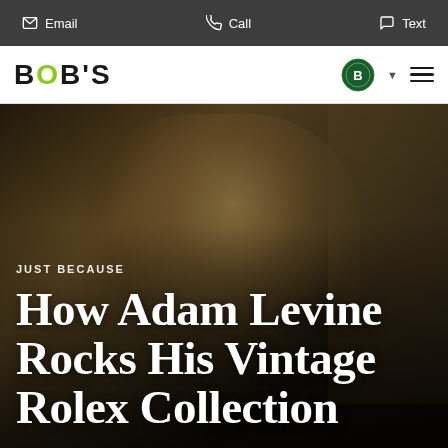Email | Call | Text
[Figure (logo): BOB'S logo with green dot on the O, navigation bar with shield icon, dropdown arrow, and hamburger menu]
[Figure (photo): Adam Levine sitting and gesturing during a TV interview, wearing a dark shirt, with a watch visible on his wrist, against a blurred studio background]
JUST BECAUSE
How Adam Levine Rocks His Vintage Rolex Collection